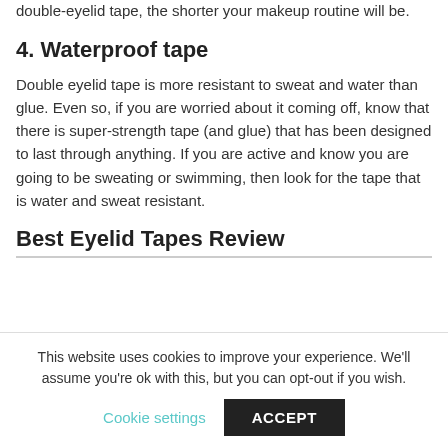double-eyelid tape, the shorter your makeup routine will be.
4. Waterproof tape
Double eyelid tape is more resistant to sweat and water than glue. Even so, if you are worried about it coming off, know that there is super-strength tape (and glue) that has been designed to last through anything. If you are active and know you are going to be sweating or swimming, then look for the tape that is water and sweat resistant.
Best Eyelid Tapes Review
This website uses cookies to improve your experience. We'll assume you're ok with this, but you can opt-out if you wish.
Cookie settings   ACCEPT